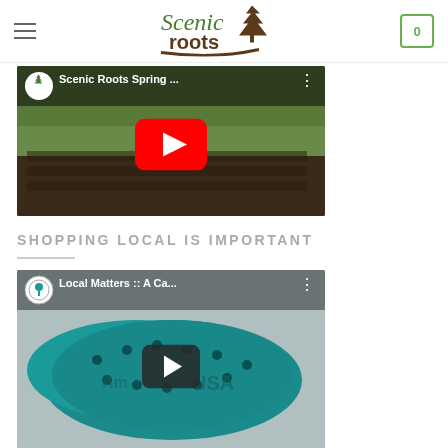Scenic Roots
[Figure (screenshot): YouTube video thumbnail for 'Scenic Roots Spring ...' showing a garden nursery with plants and a red YouTube play button]
SHOPPING LOCAL IS IMPORTANT
[Figure (screenshot): YouTube video thumbnail for 'Local Matters :: A Ca...' showing a decorative teal USA map with a dark play button]